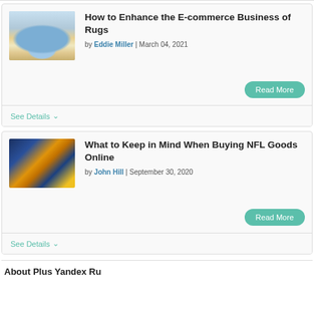[Figure (photo): Photo of a living room with a blue sofa and a colorful rug on the floor near a window]
How to Enhance the E-commerce Business of Rugs
by Eddie Miller | March 04, 2021
Read More
See Details
[Figure (photo): Photo of NFL merchandise including helmets and jerseys]
What to Keep in Mind When Buying NFL Goods Online
by John Hill | September 30, 2020
Read More
See Details
About Plus Yandex Ru